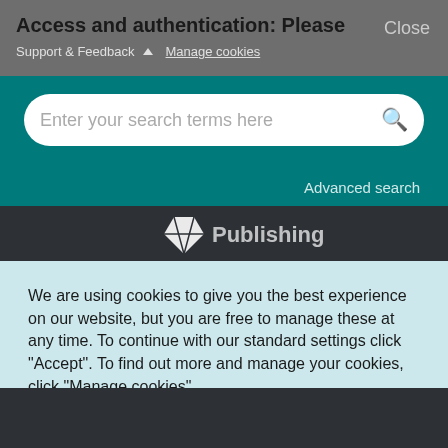Access and authentication: Please
Support & Feedback ▲  Manage cookies
Close
Enter your search terms here
Advanced search
[Figure (logo): Publishing logo with white diamond/gem shape and partial text on dark background]
We are using cookies to give you the best experience on our website, but you are free to manage these at any time. To continue with our standard settings click "Accept". To find out more and manage your cookies, click "Manage cookies".
Accept
Manage cookies
✕